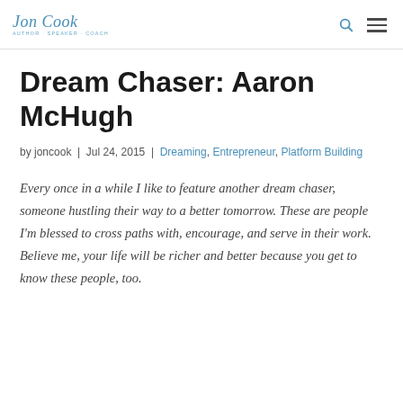Jon Cook
Dream Chaser: Aaron McHugh
by joncook | Jul 24, 2015 | Dreaming, Entrepreneur, Platform Building
Every once in a while I like to feature another dream chaser, someone hustling their way to a better tomorrow. These are people I'm blessed to cross paths with, encourage, and serve in their work. Believe me, your life will be richer and better because you get to know these people, too.